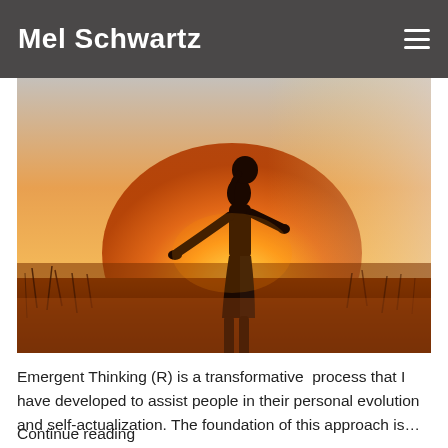Mel Schwartz
[Figure (photo): Silhouette of a woman with arms outstretched against a bright sunset sky with golden and orange hues, standing in a field.]
Emergent Thinking (R) is a transformative  process that I have developed to assist people in their personal evolution and self-actualization. The foundation of this approach is…
Continue reading